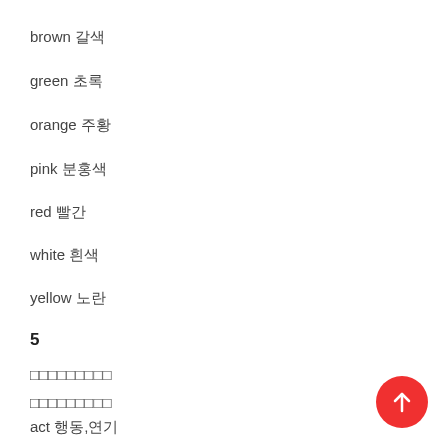brown 갈색
green 초록
orange 주황
pink 분홍색
red 빨간
white 흰색
yellow 노란
5
□□□□□□□□□
□□□□□□□□□
act 행동,연기
advertisement 광고